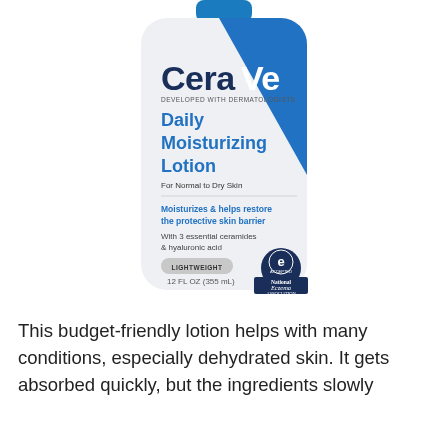[Figure (photo): CeraVe Daily Moisturizing Lotion bottle (12 FL OZ / 355 mL). White bottle with blue cap and blue diagonal stripe. Label reads: CeraVe, DEVELOPED WITH DERMATOLOGISTS, Daily Moisturizing Lotion, For Normal to Dry Skin, Moisturizes & helps restore the protective skin barrier, With 3 essential ceramides & hyaluronic acid, LIGHTWEIGHT badge, National Eczema Association accepted seal.]
This budget-friendly lotion helps with many conditions, especially dehydrated skin. It gets absorbed quickly, but the ingredients slowly